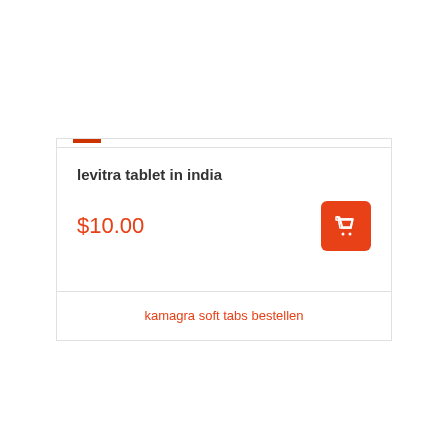levitra tablet in india
$10.00
kamagra soft tabs bestellen